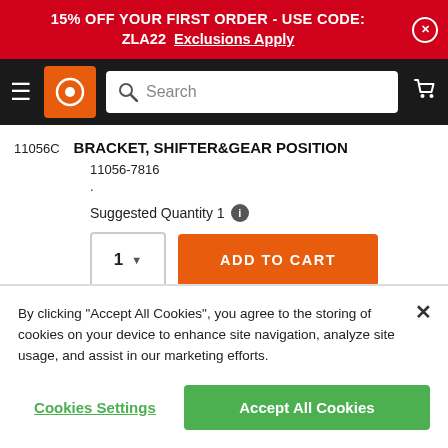15% OFF YOUR FIRST ORDER - USE CODE: ZLA22  Exclusions Apply
[Figure (screenshot): Navigation bar with hamburger menu, orange logo icon with gear, search bar, and cart icon on black background]
11056C  BRACKET, SHIFTER&GEAR POSITION
11056-7816
.
Suggested Quantity 1
1  ADD TO CART
Available Shipping 4 Business...
By clicking "Accept All Cookies", you agree to the storing of cookies on your device to enhance site navigation, analyze site usage, and assist in our marketing efforts.
Cookies Settings
Accept All Cookies